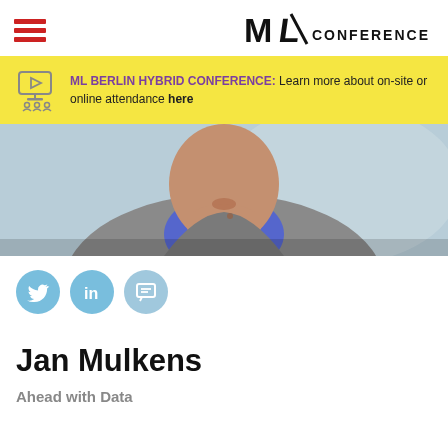ML CONFERENCE
ML BERLIN HYBRID CONFERENCE: Learn more about on-site or online attendance here
[Figure (photo): Close-up photo of a man wearing a grey jacket and blue shirt, photographed from below/front, blurred background]
[Figure (infographic): Three circular social media icons: Twitter (bird), LinkedIn (in), and a chat/contact icon, all in light blue]
Jan Mulkens
Ahead with Data